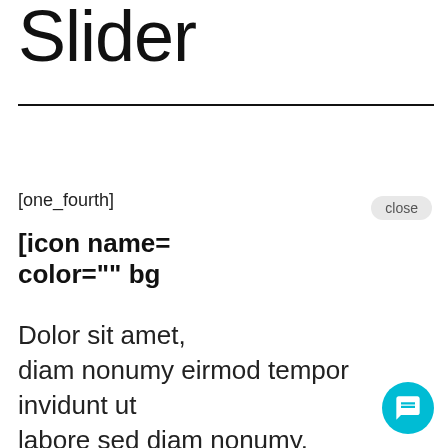Slider
[one_fourth]
[icon name= color="" bg
Dolor sit amet, diam nonumy eirmod tempor invidunt ut labore sed diam nonumy.
[Figure (screenshot): Chat popup overlay with close button, avatar of a woman, and message: 'Hi there, have a question for The Venetian at Capri Isles? Text us here.' Plus a teal chat FAB button in the bottom right.]